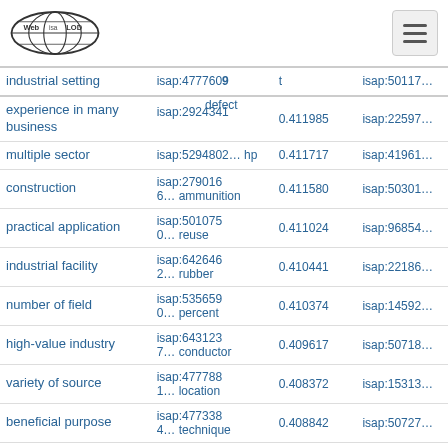Web isa LOD [logo] [hamburger menu]
| term | isap id | score | isap id 2 |
| --- | --- | --- | --- |
| industrial setting | isap:4777609… | t | isap:50117… |
| experience in many business | isap:2924341… defect | 0.411985 | isap:22597… |
| multiple sector | isap:5294802… hp | 0.411717 | isap:41961… |
| construction | isap:2790166… ammunition | 0.411580 | isap:50301… |
| practical application | isap:5010750… reuse | 0.411024 | isap:96854… |
| industrial facility | isap:6426462… rubber | 0.410441 | isap:22186… |
| number of field | isap:5356590… percent | 0.410374 | isap:14592… |
| high-value industry | isap:6431237… conductor | 0.409617 | isap:50718… |
| variety of source | isap:4777881… location | 0.408372 | isap:15313… |
| beneficial purpose | isap:4773384… technique | 0.408842 | isap:50727… |
| … | isap:505041… | support | isap:14558… |